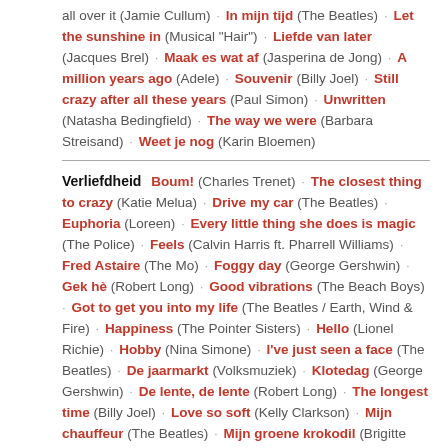all over it (Jamie Cullum) · In mijn tijd (The Beatles) · Let the sunshine in (Musical "Hair") · Liefde van later (Jacques Brel) · Maak es wat af (Jasperina de Jong) · A million years ago (Adele) · Souvenir (Billy Joel) · Still crazy after all these years (Paul Simon) · Unwritten (Natasha Bedingfield) · The way we were (Barbara Streisand) · Weet je nog (Karin Bloemen)
Verliefdheid
Boum! (Charles Trenet) · The closest thing to crazy (Katie Melua) · Drive my car (The Beatles) · Euphoria (Loreen) · Every little thing she does is magic (The Police) · Feels (Calvin Harris ft. Pharrell Williams) · Fred Astaire (The Mo) · Foggy day (George Gershwin) · Gek hè (Robert Long) · Good vibrations (The Beach Boys) · Got to get you into my life (The Beatles / Earth, Wind & Fire) · Happiness (The Pointer Sisters) · Hello (Lionel Richie) · Hobby (Nina Simone) · I've just seen a face (The Beatles) · De jaarmarkt (Volksmuziek) · Klotedag (George Gershwin) · De lente, de lente (Robert Long) · The longest time (Billy Joel) · Love so soft (Kelly Clarkson) · Mijn chauffeur (The Beatles) · Mijn groene krokodil (Brigitte Kaandorp) · Onderweg naar jouw hart (Soulsister) · Opposites attract (Paula Abdul) · She's leaving home (The Beatles) · Stitched up (Herbie Hancock & John Mayer) · Straight to my heart (Sting) · Suzanne (YO.Fo...